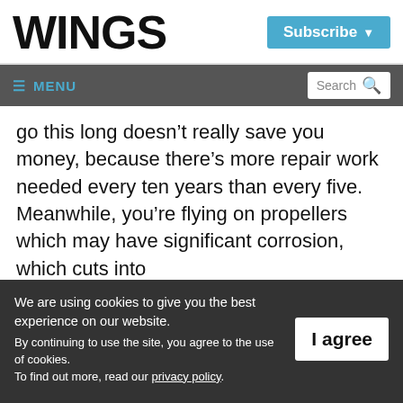WINGS
[Figure (screenshot): Subscribe button with dropdown arrow in blue]
≡ MENU
[Figure (screenshot): Search box with magnifying glass icon]
go this long doesn't really save you money, because there's more repair work needed every ten years than every five. Meanwhile, you're flying on propellers which may have significant corrosion, which cuts into
We are using cookies to give you the best experience on our website.
By continuing to use the site, you agree to the use of cookies.
To find out more, read our privacy policy.
I agree